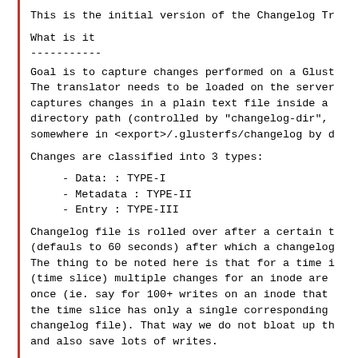This is the initial version of the Changelog Tr
What is it
-----------
Goal is to capture changes performed on a Glust
The translator needs to be loaded on the server
captures changes in a plain text file inside a
directory path (controlled by "changelog-dir",
somewhere in <export>/.glusterfs/changelog by d
Changes are classified into 3 types:
- Data:      : TYPE-I
- Metadata : TYPE-II
- Entry      : TYPE-III
Changelog file is rolled over after a certain t
(defauls to 60 seconds) after which a changelog
The thing to be noted here is that for a time i
(time slice) multiple changes for an inode are
once (ie. say for 100+ writes on an inode that
the time slice has only a single corresponding
changelog file). That way we do not bloat up th
and also save lots of writes.
Changelog Format
-----------------
TYPE-I and TYPE-II changes have the gfid on the
which the operation happened. TYPE-III being a
requires the parent gfid and the basename. Char